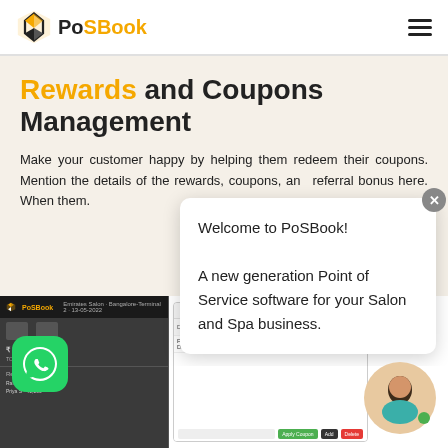PoSBook
Rewards and Coupons Management
Make your customer happy by helping them redeem their coupons. Mention the details of the rewards, coupons, and referral bonus here. When them.
[Figure (screenshot): Welcome to PoSBook! A new generation Point of Service software for your Salon and Spa business. popup modal overlay]
[Figure (screenshot): PoSBook POS interface showing a Discount modal with a table listing Discount Name, Discount Type, Category, Discount Mode, Value columns. Row: Festive Discount500, line, service, value, 100. WhatsApp floating button. Avatar icon bottom right.]